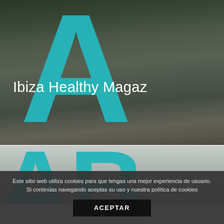[Figure (screenshot): Website screenshot showing Ibiza Healthy Magazine with large teal letter A overlay on a construction/nature photo background, with the text 'Ibiza Healthy Magaz' visible]
Este sitio web utiliza cookies para que tengas una mejor experiencia de usuario. Si continúas navegando aceptas su uso y nuestra política de cookies
ACEPTAR